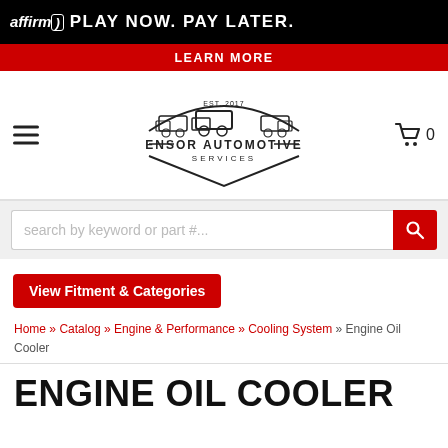[Figure (infographic): Affirm 'PLAY NOW. PAY LATER.' advertisement banner with black background]
LEARN MORE
[Figure (logo): Ensor Automotive Services logo with three trucks and EST. 2017 text]
[Figure (screenshot): Search bar: search by keyword or part #...]
View Fitment & Categories
Home » Catalog » Engine & Performance » Cooling System » Engine Oil Cooler
ENGINE OIL COOLER